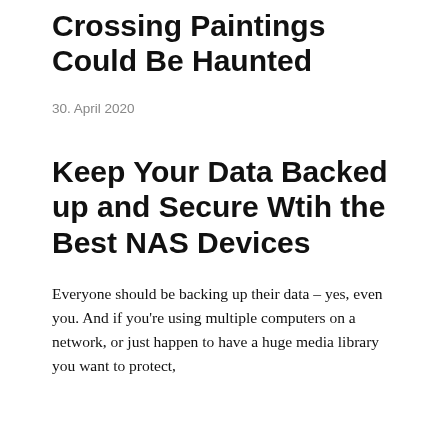Crossing Paintings Could Be Haunted
30. April 2020
Keep Your Data Backed up and Secure Wtih the Best NAS Devices
Everyone should be backing up their data – yes, even you. And if you're using multiple computers on a network, or just happen to have a huge media library you want to protect, NAS (network-attached storage) devices